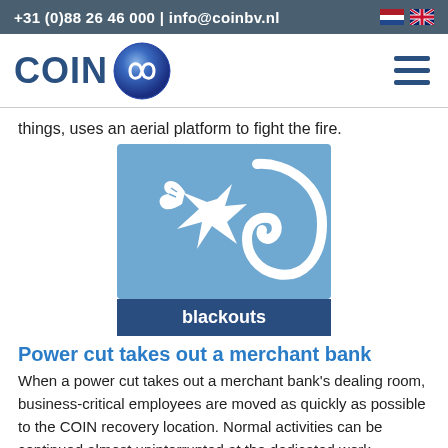+31 (0)88 26 46 000 | info@coinbv.nl
[Figure (logo): COIN logo with blue infinity symbol sphere and text COIN]
things, uses an aerial platform to fight the fire.
[Figure (illustration): Blue square image with white dragon/serpent illustration and dark blue caption bar reading 'blackouts']
Power cut takes out a merchant bank
When a power cut takes out a merchant bank's dealing room, business-critical employees are moved as quickly as possible to the COIN recovery location. Normal activities can be continued almost uninterrupted at the dedicated work stations, where Bloomberg dealing room positions are always kept operational.